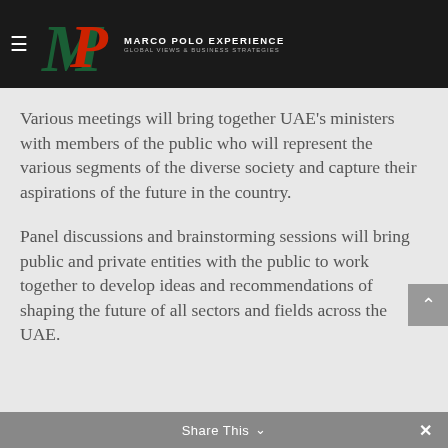Marco Polo Experience — Global Views & Business Strategies
Various meetings will bring together UAE’s ministers with members of the public who will represent the various segments of the diverse society and capture their aspirations of the future in the country.
Panel discussions and brainstorming sessions will bring public and private entities with the public to work together to develop ideas and recommendations of shaping the future of all sectors and fields across the UAE.
Share This